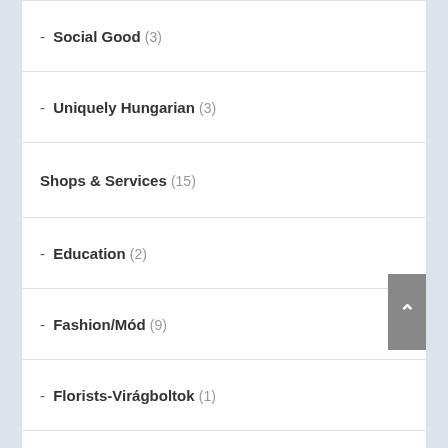- Social Good (3)
- Uniquely Hungarian (3)
Shops & Services (15)
- Education (2)
- Fashion/Mód (9)
- Florists-Virágboltok (1)
- Second Hand (2)
Things (26)
- Hungarian Products (13)
- Különleges (?)